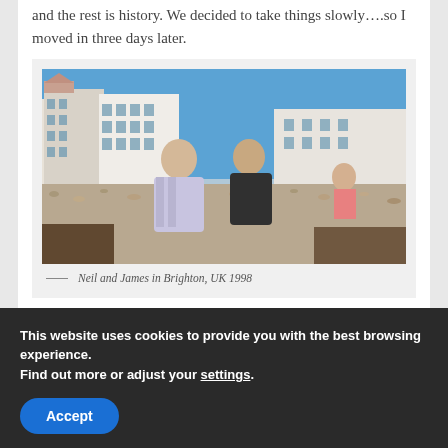and the rest is history. We decided to take things slowly….so I moved in three days later.
[Figure (photo): Two men sitting on a pebble beach in Brighton, UK, with large Victorian seafront buildings in the background. The photo appears to be from 1998.]
— Neil and James in Brighton, UK 1998
This website uses cookies to provide you with the best browsing experience. Find out more or adjust your settings.
Accept